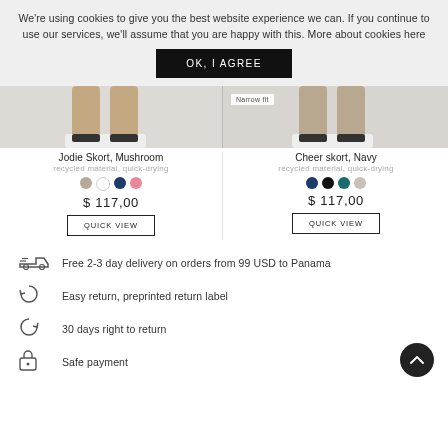We're using cookies to give you the best website experience we can. If you continue to use our services, we'll assume that you are happy with this. More about cookies here
OK, I AGREE
[Figure (photo): Product image area showing legs/feet with sneakers for Jodie Skort, Mushroom]
Jodie Skort, Mushroom
recycled material, quick-drying
$ 117,00
QUICK VIEW
[Figure (photo): Product image area showing legs/feet with sneakers for Cheer skort, Navy, with Narrow fit badge]
Cheer skort, Navy
recycled material, quick-drying
$ 117,00
QUICK VIEW
Free 2-3 day delivery on orders from 99 USD to Panama
Easy return, preprinted return label
30 days right to return
Safe payment